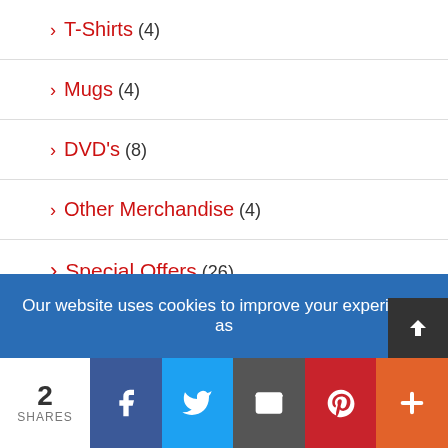> T-Shirts (4)
> Mugs (4)
> DVD's (8)
> Other Merchandise (4)
> Special Offers (26)
Shop
> Magazine Subscriptions
> Latest Issues
Our website uses cookies to improve your experience as
2 SHARES